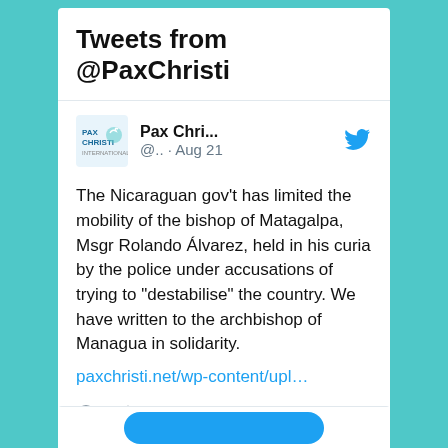Tweets from @PaxChristi
Pax Chri... @.. · Aug 21
The Nicaraguan gov't has limited the mobility of the bishop of Matagalpa, Msgr Rolando Álvarez, held in his curia by the police under accusations of trying to "destabilise" the country. We have written to the archbishop of Managua in solidarity.
paxchristi.net/wp-content/upl…